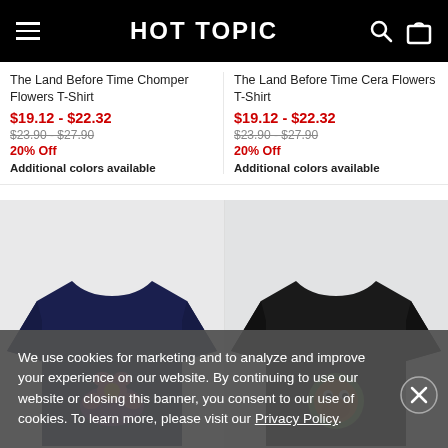HOT TOPIC
The Land Before Time Chomper Flowers T-Shirt
$19.12 - $22.32
$23.90 - $27.90
20% Off
Additional colors available
The Land Before Time Cera Flowers T-Shirt
$19.12 - $22.32
$23.90 - $27.90
20% Off
Additional colors available
[Figure (photo): Navy blue t-shirt with colorful flower design on front]
[Figure (photo): Black t-shirt with colorful design on front]
We use cookies for marketing and to analyze and improve your experience on our website. By continuing to use our website or closing this banner, you consent to our use of cookies. To learn more, please visit our Privacy Policy.